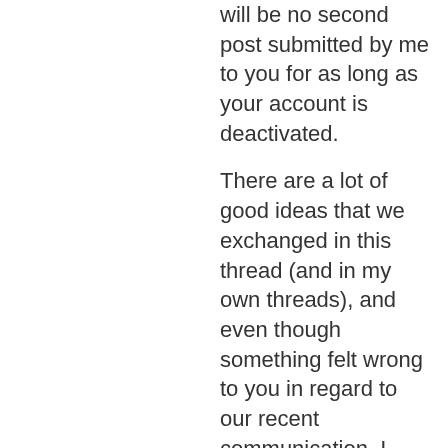will be no second post submitted by me to you for as long as your account is deactivated.
There are a lot of good ideas that we exchanged in this thread (and in my own threads), and even though something felt wrong to you in regard to our recent communication, I hope that sometime in the future, you will re-read and study our communication- as well as your communication with other members- because it can be helpful to you. You said it yourself when you posted this to me throughout your thread: